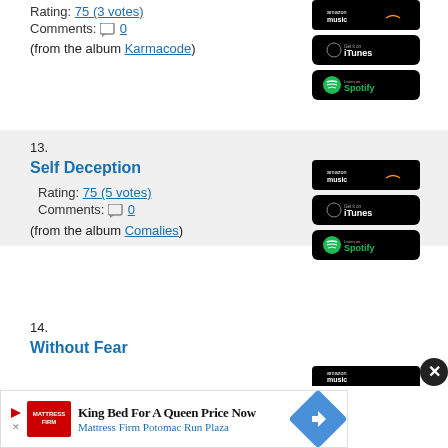Rating: 75 (3 votes)
Comments: 0
(from the album Karmacode)
13.
Self Deception
Rating: 75 (5 votes)
Comments: 0
(from the album Comalies)
14.
Without Fear
[Figure (other): Amazon Music badge]
[Figure (other): iTunes badge]
[Figure (other): Spotify badge]
[Figure (other): Amazon Music badge]
[Figure (other): iTunes badge]
[Figure (other): Spotify badge]
King Bed For A Queen Price Now
Mattress Firm Potomac Run Plaza